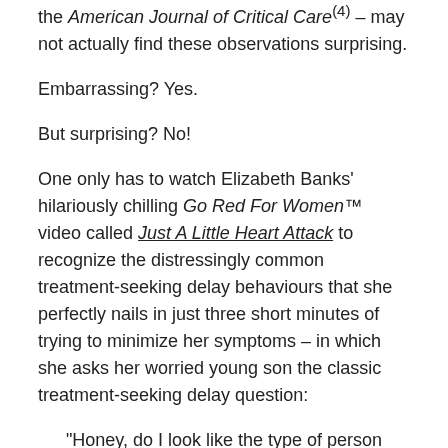the American Journal of Critical Care(4) – may not actually find these observations surprising.
Embarrassing? Yes.
But surprising? No!
One only has to watch Elizabeth Banks' hilariously chilling Go Red For Women™ video called Just A Little Heart Attack to recognize the distressingly common treatment-seeking delay behaviours that she perfectly nails in just three short minutes of trying to minimize her symptoms – in which she asks her worried young son the classic treatment-seeking delay question:
“Honey, do I look like the type of person who has a heart attack?”
This is so perfect! As a longtime distance runner, I too